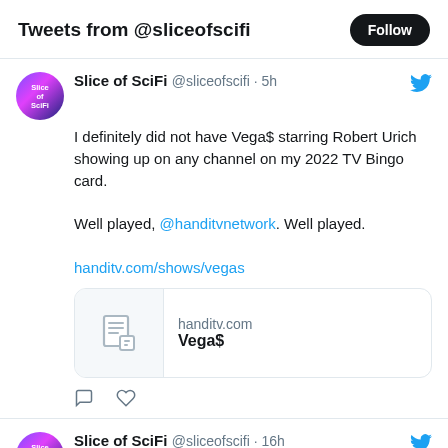Tweets from @sliceofscifi
Slice of SciFi @sliceofscifi · 5h
I definitely did not have Vega$ starring Robert Urich showing up on any channel on my 2022 TV Bingo card.

Well played, @handitvnetwork. Well played.

handitv.com/shows/vegas
[Figure (screenshot): Link preview card for handitv.com showing a document icon and the title 'Vega$']
Slice of SciFi @sliceofscifi · 16h
The #Commentary gods are smiling in 2022.

Coming Oct 11th, THE SCORE 4K release...